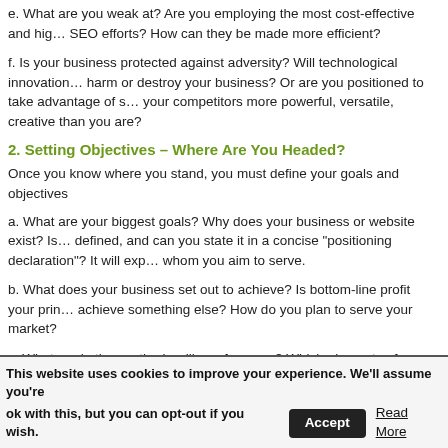e. What are you weak at?  Are you employing the most cost-effective and high-performance SEO efforts?  How can they be made more efficient?
f. Is your business protected against adversity?  Will technological innovation harm or destroy your business?  Or are you positioned to take advantage of such?  Are your competitors more powerful, versatile, creative than you are?
2. Setting Objectives – Where Are You Headed?
Once you know where you stand, you must define your goals and objectives
a. What are your biggest goals?  Why does your business or website exist?  Is your "niche" clearly defined, and can you state it in a concise "positioning declaration"?  It will express your unique value and whom you aim to serve.
b. What does your business set out to achieve?  Is bottom-line profit your primary goal or achieve something else?  How do you plan to serve your market?
c. What marketing methods will you focus on?  Which elements of your SEO improve conversion to sales, and result in repeat business and/or referrals?
This website uses cookies to improve your experience. We'll assume you're ok with this, but you can opt-out if you wish.  Accept  Read More